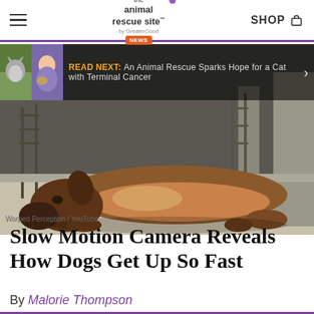The Animal Rescue Site News | SHOP
[Figure (photo): READ NEXT banner showing two thumbnail images (a cat outdoors and a girl holding a dog in a hammock) with text: READ NEXT: An Animal Rescue Sparks Hope for a Cat with Terminal Cancer]
[Figure (photo): Large photo of a brown dog lying flat on its side on a light-colored floor, taken from a slow-motion video by Warped Perception / YouTube]
Warped Perception / YouTube
Slow Motion Camera Reveals How Dogs Get Up So Fast
By Malorie Thompson